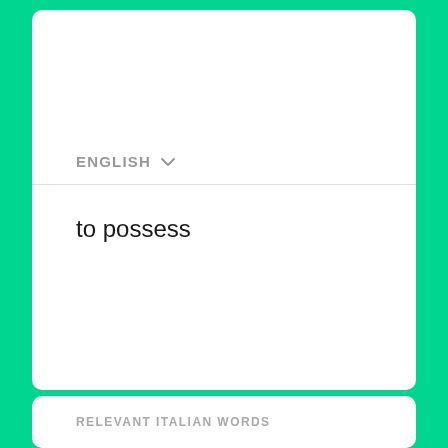ENGLISH
to possess
RELEVANT ITALIAN WORDS